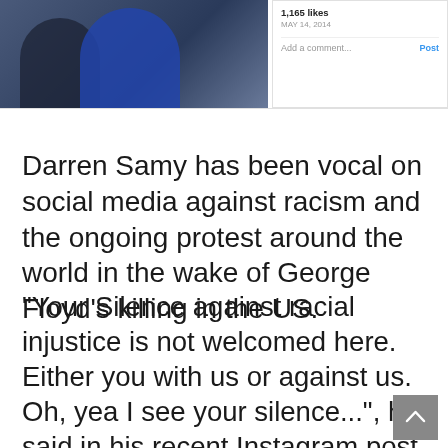[Figure (screenshot): Top portion of a web article showing a cropped photo of people on the left and an Instagram panel on the right showing 1,165 likes, date MAY 14, 2014, and an Add a comment field with Post button]
Darren Samy has been vocal on social media against racism and the ongoing protest around the world in the wake of George Floyd's killing in the US.
“Your Silence against racial injustice is not welcomed here. Either you with us or against us. Oh, yea I see your silence...”, he said in his recent Instagram post.